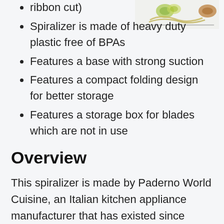[Figure (photo): Photo of spiralized vegetables including cucumber ribbons and zucchini noodles on a light background]
ribbon cut)
Spiralizer is made of heavy duty plastic free of BPAs
Features a base with strong suction
Features a compact folding design for better storage
Features a storage box for blades which are not in use
Overview
This spiralizer is made by Paderno World Cuisine, an Italian kitchen appliance manufacturer that has existed since 1925. This product rather effectively represents their long and experienced history. For example, this model comes with 4 separate